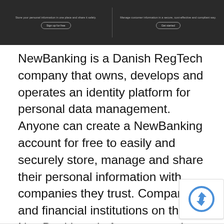[Figure (screenshot): Website screenshot banner with dark background showing two sections: left side says 'Store your personal information in one place and share it safely.' with a 'Sign up for free' button; right side says 'Manage customer information in a secure, cost-effective and compliant way.' with a 'Get started' button.]
NewBanking is a Danish RegTech company that owns, develops and operates an identity platform for personal data management. Anyone can create a NewBanking account for free to easily and securely store, manage and share their personal information with companies they trust. Companies and financial institutions on the NewBanking platform can easier and at a lower cost get access to personal information on their customers, as well as perform the identity checks necessary to be fully compliant with the regulatory requirements issued by the autho